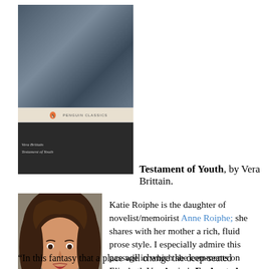[Figure (photo): Book cover of Testament of Youth by Vera Brittain (Penguin Classics edition), showing a dark naval/ship scene on the top half and the book title and author name on a dark lower half.]
Testament of Youth, by Vera Brittain.
[Figure (photo): Portrait photograph of Katie Roiphe, a woman with long curly brown hair, wearing a white shirt, looking at the camera.]
Katie Roiphe is the daughter of novelist/memoirist Anne Roiphe; she shares with her mother a rich, fluid prose style. I especially admire this passage in which she comments on Elizabeth Von Arnim's Enchanted April:
“In this fantasy that a place will change the deep-seated